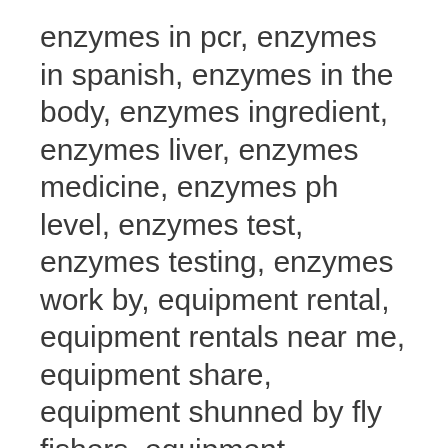enzymes in pcr, enzymes in spanish, enzymes in the body, enzymes ingredient, enzymes liver, enzymes medicine, enzymes ph level, enzymes test, enzymes testing, enzymes work by, equipment rental, equipment rentals near me, equipment share, equipment shunned by fly fishers, equipment shunned by fly fishers crossword, equipment synonym, equipment trader, equipments cleary, equipments data, equipments fds, equipments gym, equipments mtg, equipments needed in building an aquarium, equipmentshare careers, equipmentshare ceo, equipmentshare controller, equipmentshare